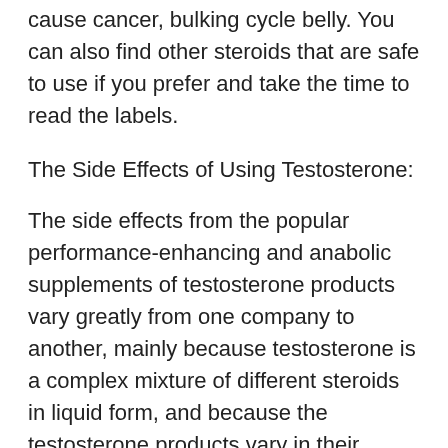cause cancer, bulking cycle belly. You can also find other steroids that are safe to use if you prefer and take the time to read the labels.
The Side Effects of Using Testosterone:
The side effects from the popular performance-enhancing and anabolic supplements of testosterone products vary greatly from one company to another, mainly because testosterone is a complex mixture of different steroids in liquid form, and because the testosterone products vary in their dosage of the most common and powerful anabolic steroids, as well as the amount of their active ingredients.
Many anabolic steroids are considered "weak" steroids. Weak steroids reduce